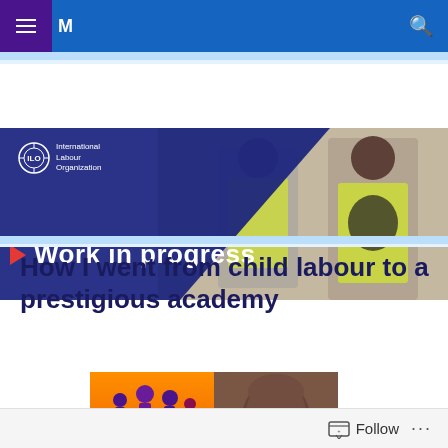M
[Figure (photo): ILO Work in progress banner with students in high-visibility vests working on electronics, with ILO logo and red play triangle]
How I went from child labour to a prestigious academy
[Figure (photo): Composite image: left side shows 'COMBAT CHILD LABOUR!' graphic with orange/red background and silhouette figures; right side shows close-up portrait of a man]
Follow